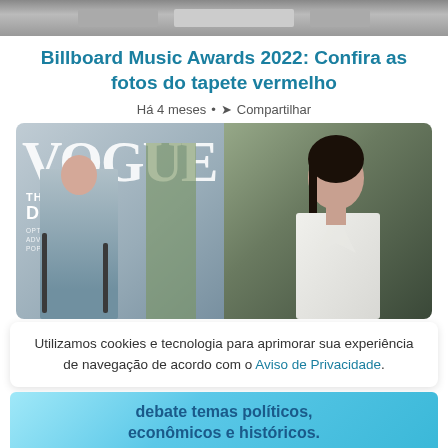[Figure (photo): Top strip image — partial banner/header image, clipped]
Billboard Music Awards 2022: Confira as fotos do tapete vermelho
Há 4 meses • Compartilhar
[Figure (photo): Vogue magazine cover featuring Dua Lipa with text 'THE REAL DUA LIPA — OPTIMIST, ADVOCATE, POP SENSATION' on the left side, and a separate photo of a woman in a white blazer on the right side]
Utilizamos cookies e tecnologia para aprimorar sua experiência de navegação de acordo com o Aviso de Privacidade.
debate temas políticos, econômicos e históricos.